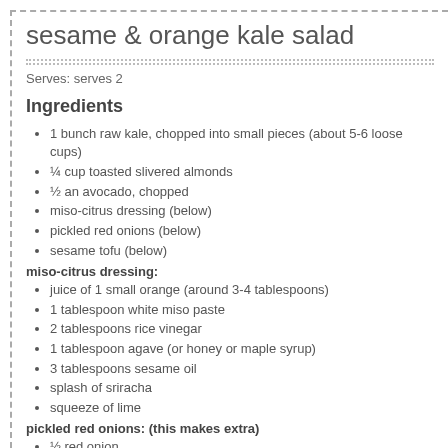sesame & orange kale salad
Serves: serves 2
Ingredients
1 bunch raw kale, chopped into small pieces (about 5-6 loose cups)
¼ cup toasted slivered almonds
½ an avocado, chopped
miso-citrus dressing (below)
pickled red onions (below)
sesame tofu (below)
miso-citrus dressing:
juice of 1 small orange (around 3-4 tablespoons)
1 tablespoon white miso paste
2 tablespoons rice vinegar
1 tablespoon agave (or honey or maple syrup)
3 tablespoons sesame oil
splash of sriracha
squeeze of lime
pickled red onions: (this makes extra)
½ red onion
splash of rice vinegar
squeeze of lime
a few pinches of salt